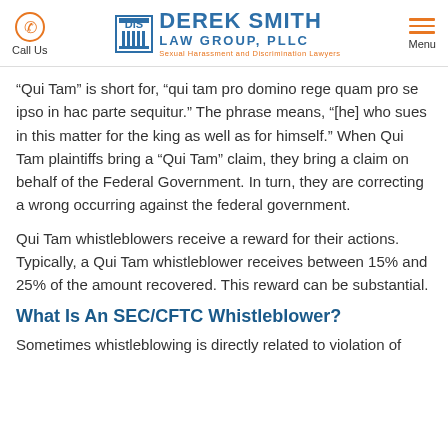Call Us | Derek Smith Law Group, PLLC - Sexual Harassment and Discrimination Lawyers | Menu
“Qui Tam” is short for, “qui tam pro domino rege quam pro se ipso in hac parte sequitur.” The phrase means, “[he] who sues in this matter for the king as well as for himself.” When Qui Tam plaintiffs bring a “Qui Tam” claim, they bring a claim on behalf of the Federal Government. In turn, they are correcting a wrong occurring against the federal government.
Qui Tam whistleblowers receive a reward for their actions. Typically, a Qui Tam whistleblower receives between 15% and 25% of the amount recovered. This reward can be substantial.
What Is An SEC/CFTC Whistleblower?
Sometimes whistleblowing is directly related to violation of